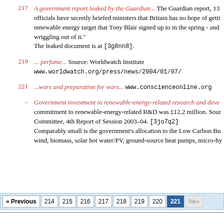217 A government report leaked by the Guardian... The Guardian report, 13. officials have secretly briefed ministers that Britain has no hope of getting renewable energy target that Tony Blair signed up to in the spring - and wriggling out of it. The leaked document is at [3g8nn8].
219 ... perfume... Source: Worldwatch Institute www.worldwatch.org/press/news/2004/01/07/
221 ...wars and preparation for wars... www.conscienceonline.org
– Government investment in renewable-energy-related research and development: commitment to renewable-energy-related R&D was £12.2 million. Source: Committee, 4th Report of Session 2003–04. [3jo7q2] Comparably small is the government's allocation to the Low Carbon Bu wind, biomass, solar hot water/PV, ground-source heat pumps, micro-hy
« Previous 214 215 216 217 218 219 220 221 Ne»